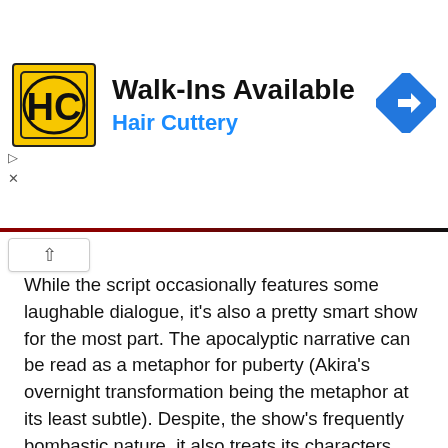[Figure (other): Advertisement banner for Hair Cuttery salon with logo, text 'Walk-Ins Available' and 'Hair Cuttery', and a blue navigation diamond icon]
While the script occasionally features some laughable dialogue, it's also a pretty smart show for the most part. The apocalyptic narrative can be read as a metaphor for puberty (Akira's overnight transformation being the metaphor at its least subtle). Despite, the show's frequently bombastic nature, it also treats its characters well, shedding light on even the minor ones and adding surprising depth.
Devilman Crybaby is a curious beast. Much like its central character, it combines elements together to create something that probably should not work, but somehow does. This strange hybrid of the old and the new, dark and light, East and West combine to create something the likes of which you will never have seen before. Assuming you've got the stomach for it, this is